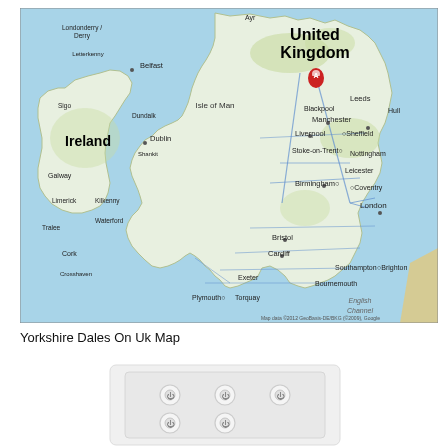[Figure (map): Google Maps image showing the United Kingdom and Ireland. A red marker pin labeled 'A' is placed in Yorkshire/northern England area. Major cities labeled include Belfast, Dublin, Galway, Limerick, Cork, Leeds, Hull, Manchester, Sheffield, Liverpool, Birmingham, Coventry, Nottingham, Leicester, London, Bristol, Cardiff, Southampton, Brighton, Plymouth, Exeter, Bournemouth, Stoke-on-Trent, Blackpool, Torquay, Crosshaven, Waterford, Kilkenny, Dundalk, Letterkenny, Londonderry/Derry, Sigo, Tralee, Ayr. 'United Kingdom' and 'Ireland' labeled in bold. 'Isle of Man' labeled. Map data credit: Map data ©2012 GeoBasis-DE/BKG (©2009), Google]
Yorkshire Dales On Uk Map
[Figure (photo): Photo of a white washer-dryer or washing machine appliance, partially cropped, showing the front panel with circular control dials/buttons. The appliance is white with a light gray/white front facade.]